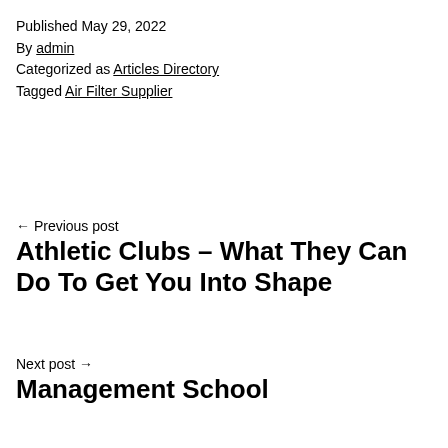Published May 29, 2022
By admin
Categorized as Articles Directory
Tagged Air Filter Supplier
← Previous post
Athletic Clubs – What They Can Do To Get You Into Shape
Next post →
Management School